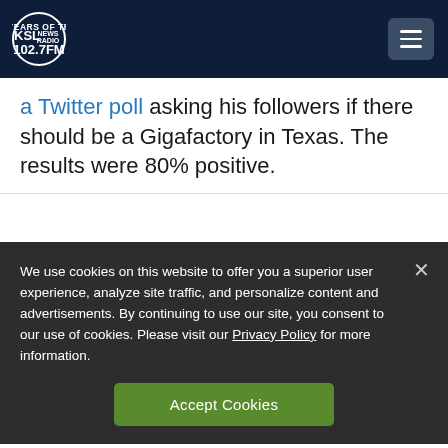KSL NewsRadio 102.7FM
a Twitter poll asking his followers if there should be a Gigafactory in Texas. The results were 80% positive.
We use cookies on this website to offer you a superior user experience, analyze site traffic, and personalize content and advertisements. By continuing to use our site, you consent to our use of cookies. Please visit our Privacy Policy for more information.
Accept Cookies